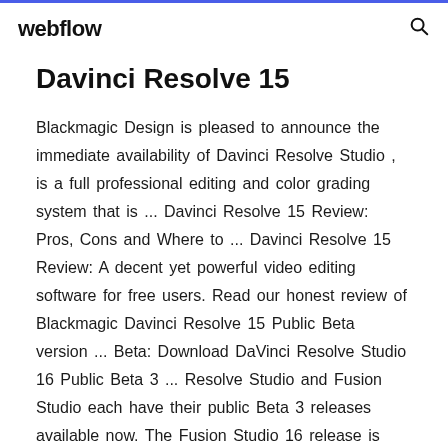webflow
Davinci Resolve 15
Blackmagic Design is pleased to announce the immediate availability of Davinci Resolve Studio , is a full professional editing and color grading system that is ... Davinci Resolve 15 Review: Pros, Cons and Where to ... Davinci Resolve 15 Review: A decent yet powerful video editing software for free users. Read our honest review of Blackmagic Davinci Resolve 15 Public Beta version ... Beta: Download DaVinci Resolve Studio 16 Public Beta 3 ... Resolve Studio and Fusion Studio each have their public Beta 3 releases available now. The Fusion Studio 16 release is concurrent with the